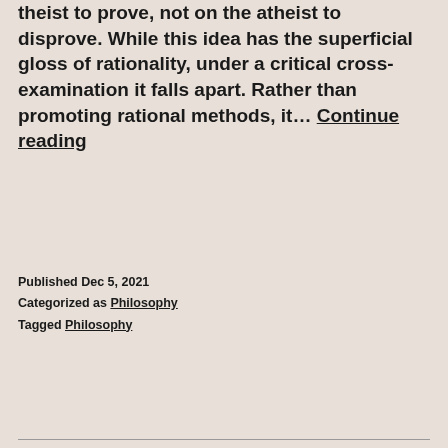default assumption and the onus is on the theist to prove, not on the atheist to disprove. While this idea has the superficial gloss of rationality, under a critical cross-examination it falls apart. Rather than promoting rational methods, it… Continue reading
Published Dec 5, 2021
Categorized as Philosophy
Tagged Philosophy